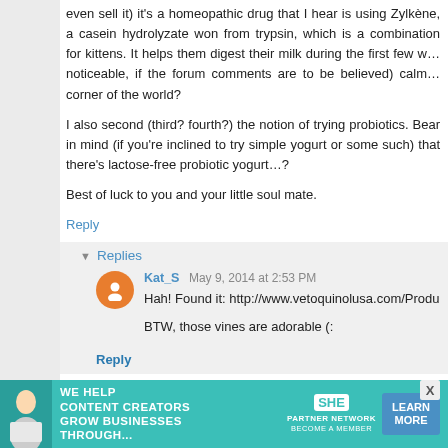even sell it) it's a homeopathic drug that I hear is using Zylkène, a casein hydrolyzate won from trypsin, which is a combination for kittens. It helps them digest their milk during the first few weeks. noticeable, if the forum comments are to be believed) calm in any corner of the world?
I also second (third? fourth?) the notion of trying probiotics. Bear in mind (if you're inclined to try simple yogurt or some such) that there's lactose-free probiotic yogurt…?
Best of luck to you and your little soul mate.
Reply
Replies
Kat_S May 9, 2014 at 2:53 PM
Hah! Found it: http://www.vetoquinolusa.com/Produ
BTW, those vines are adorable (:
Reply
Unknown May 9, 2014 at 3:06 PM
[Figure (infographic): SHE Partner Network advertisement banner with teal background, text 'We help content creators grow businesses through...', SHE logo, and 'Learn More' button]